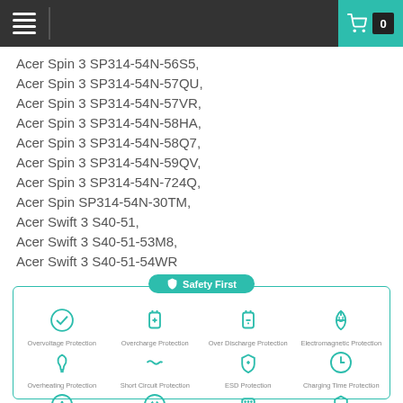Navigation bar with hamburger menu and cart icon (0 items)
Acer Spin 3 SP314-54N-56S5,
Acer Spin 3 SP314-54N-57QU,
Acer Spin 3 SP314-54N-57VR,
Acer Spin 3 SP314-54N-58HA,
Acer Spin 3 SP314-54N-58Q7,
Acer Spin 3 SP314-54N-59QV,
Acer Spin 3 SP314-54N-724Q,
Acer Spin SP314-54N-30TM,
Acer Swift 3 S40-51,
Acer Swift 3 S40-51-53M8,
Acer Swift 3 S40-51-54WR
[Figure (infographic): Safety First infographic showing 12 protection icons: Overvoltage Protection, Overcharge Protection, Over Discharge Protection, Electromagnetic Protection, Overheating Protection, Short Circuit Protection, ESD Protection, Charging Time Protection, Overcurrent Protection, Power Protection, Intelligent Protection, Class A Protection. All icons in teal/green color.]